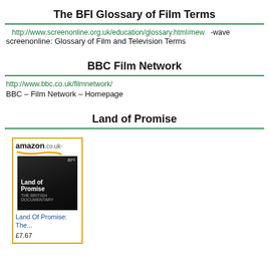The BFI Glossary of Film Terms
http://www.screenonline.org.uk/education/glossary.html#new-wave
screenonline: Glossary of Film and Television Terms
BBC Film Network
http://www.bbc.co.uk/filmnetwork/
BBC – Film Network – Homepage
Land of Promise
[Figure (other): Amazon.co.uk product listing showing book cover for 'Land of Promise: The...' with price £7.67]
Land Of Promise: The...
£7.67